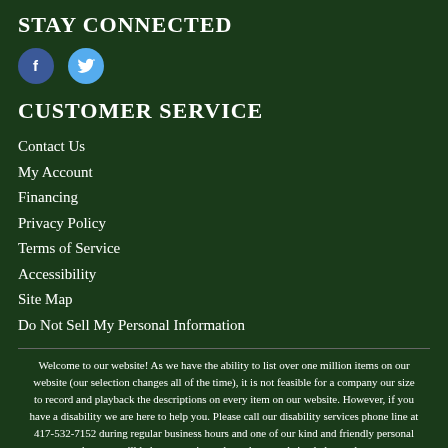STAY CONNECTED
[Figure (illustration): Facebook and Twitter social media icons (circular)]
CUSTOMER SERVICE
Contact Us
My Account
Financing
Privacy Policy
Terms of Service
Accessibility
Site Map
Do Not Sell My Personal Information
Welcome to our website! As we have the ability to list over one million items on our website (our selection changes all of the time), it is not feasible for a company our size to record and playback the descriptions on every item on our website. However, if you have a disability we are here to help you. Please call our disability services phone line at 417-532-7152 during regular business hours and one of our kind and friendly personal shoppers will help you navigate through our website, help conduct